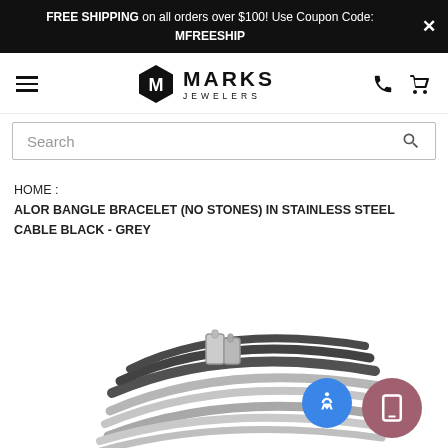FREE SHIPPING on all orders over $100! Use Coupon Code: MFREESHIP
[Figure (logo): Marks Jewelers logo with hexagon M icon, hamburger menu left, phone and cart icons right]
Search
HOME : ALOR BANGLE BRACELET (NO STONES) IN STAINLESS STEEL CABLE BLACK - GREY
[Figure (photo): ALOR bangle bracelet in stainless steel cable, black and grey twisted cables with silver clasp, on white background. Accessibility and mobile buttons overlaid.]